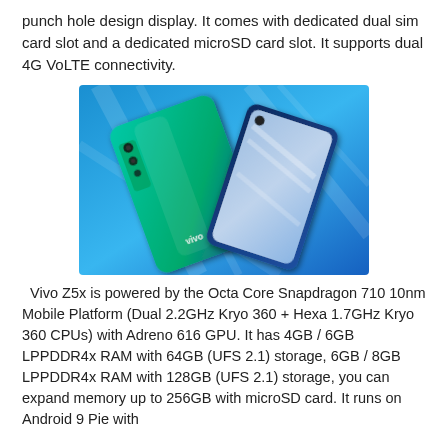punch hole design display. It comes with dedicated dual sim card slot and a dedicated microSD card slot. It supports dual 4G VoLTE connectivity.
[Figure (photo): Promotional photo of the Vivo Z5x smartphone showing the back and front of the device in teal/blue gradient color against a bright blue background with light streaks.]
Vivo Z5x is powered by the Octa Core Snapdragon 710 10nm Mobile Platform (Dual 2.2GHz Kryo 360 + Hexa 1.7GHz Kryo 360 CPUs) with Adreno 616 GPU. It has 4GB / 6GB LPPDDR4x RAM with 64GB (UFS 2.1) storage, 6GB / 8GB LPPDDR4x RAM with 128GB (UFS 2.1) storage, you can expand memory up to 256GB with microSD card. It runs on Android 9 Pie with